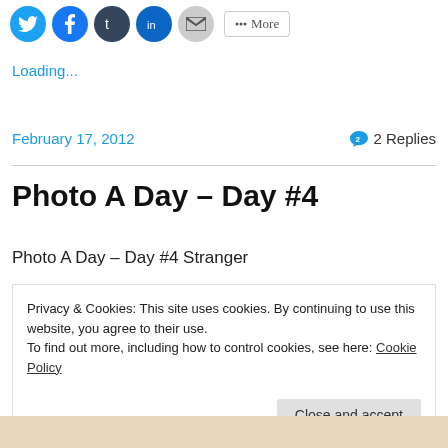[Figure (other): Social media share icons: Twitter, Facebook, Tumblr, LinkedIn, Email circles, and a More button]
Loading...
February 17, 2012     2 Replies
Photo A Day – Day #4
Photo A Day – Day #4 Stranger
Privacy & Cookies: This site uses cookies. By continuing to use this website, you agree to their use.
To find out more, including how to control cookies, see here: Cookie Policy
[Close and accept button]
[Figure (photo): Colorful photo strip at bottom of page, partially visible]